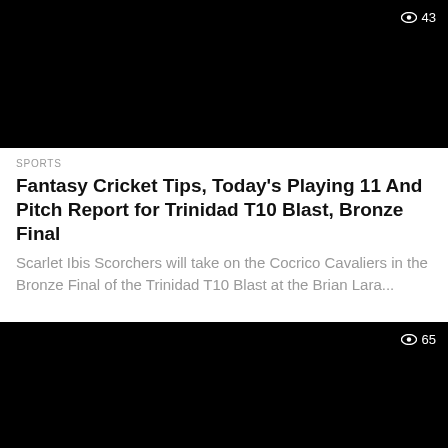[Figure (screenshot): Black thumbnail image with eye icon and view count 43 in top right corner]
SPORTS
Fantasy Cricket Tips, Today's Playing 11 And Pitch Report for Trinidad T10 Blast, Bronze Final
Scarlet Ibis Scorchers will take on the Cocrico Cavaliers in the Bronze Final of the Trinidad T10 Blast at the Brian Lara...
[Figure (screenshot): Black thumbnail image with eye icon and view count 65 in top right corner]